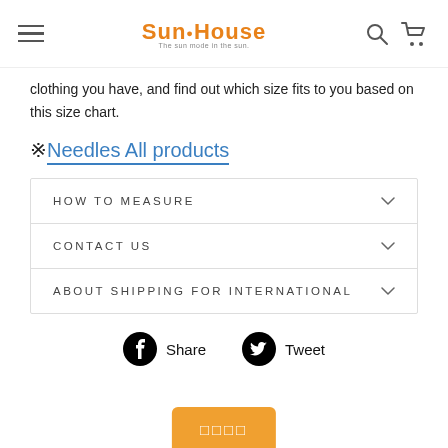SunHouse (logo with navigation icons)
clothing you have, and find out which size fits to you based on this size chart.
※Needles All products
| Section |
| --- |
| HOW TO MEASURE |
| CONTACT US |
| ABOUT SHIPPING FOR INTERNATIONAL |
Share  Tweet
□□□□